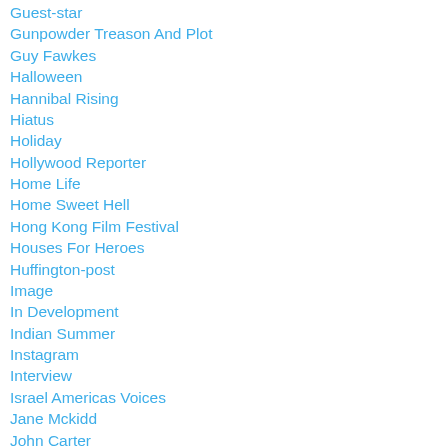Guest-star
Gunpowder Treason And Plot
Guy Fawkes
Halloween
Hannibal Rising
Hiatus
Holiday
Hollywood Reporter
Home Life
Home Sweet Hell
Hong Kong Film Festival
Houses For Heroes
Huffington-post
Image
In Development
Indian Summer
Instagram
Interview
Israel Americas Voices
Jane Mckidd
John Carter